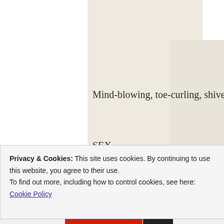Mind-blowing, toe-curling, shiver-inducing
SEX
with
Muscular, tattooed, achingly-handsome, c...
BAD BOYS.
Privacy & Cookies: This site uses cookies. By continuing to use this website, you agree to their use.
To find out more, including how to control cookies, see here:
Cookie Policy
Close and accept
Advertisements